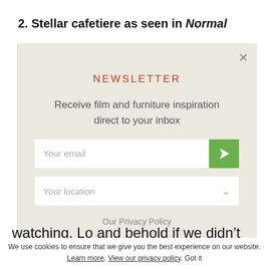2. Stellar cafetiere as seen in Normal
[Figure (screenshot): Newsletter signup modal overlay with red 'NEWSLETTER' heading, description text 'Receive film and furniture inspiration direct to your inbox', email input field with green submit button, location dropdown, and 'Our Privacy Policy' link. Close button (X) in top right corner. Light beige/cream background.]
watching. Lo and behold if we didn’t spot our
We use cookies to ensure that we give you the best experience on our website. Learn more. View our privacy policy. Got it